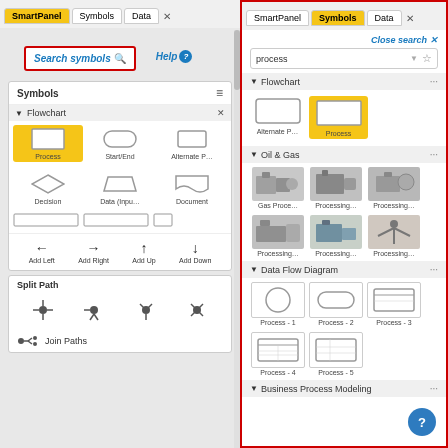[Figure (screenshot): Left panel: SmartPanel/Symbols/Data tabs, Search symbols box with red border, Help link, Symbols panel with Flowchart section showing Process/StartEnd/AlternateP shapes, Decision/Data/Document shapes, partial row, direction buttons (Add Left/Right/Up/Down), Split Path section with icons, Join Paths row]
[Figure (screenshot): Right panel with red border: SmartPanel/Symbols/Data tabs with Symbols active, Close search link, process search input, Flowchart section with Alternate P and Process (highlighted yellow), Oil & Gas section with 6 processing icons, Data Flow Diagram section with Process-1 through 5, Business Process Modeling section header]